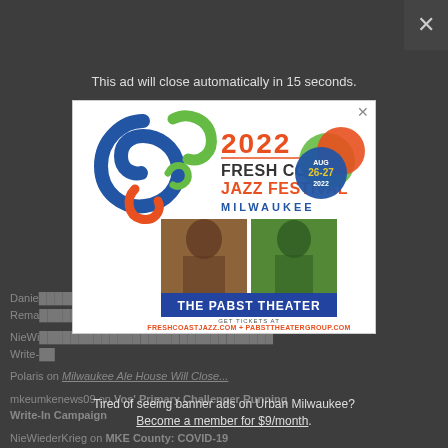This ad will close automatically in 15 seconds.
[Figure (illustration): 2022 Fresh Coast Jazz Festival Milwaukee advertisement for The Pabst Theater, Aug 26-27 2022, featuring musicians Bob James and Najee. Get tickets at freshcoastjazz.com + pabsttheatergroup.com]
Tired of seeing banner ads on Urban Milwaukee? Become a member for $9/month.
Daniel ... tions Rema...
NieWi... Write-...
Polaris on Milwaukee Ale House Will Close...
mkeumkenews09 on Vos' Primary Challenger Running Write-In Campaign
NieWiederKrieg on MKE County: COVID-19